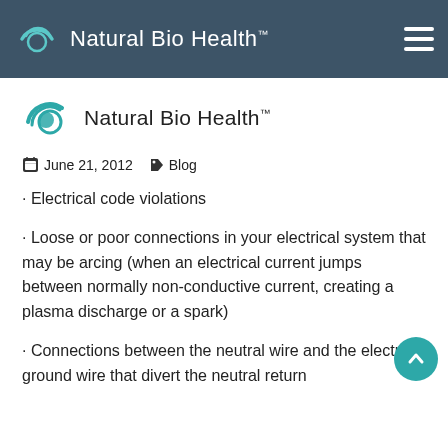Natural Bio Health™
[Figure (logo): Natural Bio Health logo with teal crescent arc icon and wordmark]
June 21, 2012   Blog
• Electrical code violations
• Loose or poor connections in your electrical system that may be arcing (when an electrical current jumps between normally non-conductive current, creating a plasma discharge or a spark)
• Connections between the neutral wire and the electrical ground wire that divert the neutral return